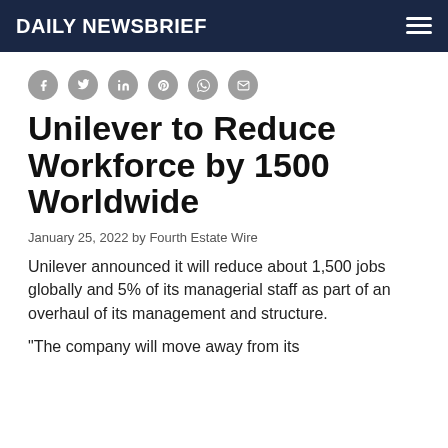DAILY NEWSBRIEF
Unilever to Reduce Workforce by 1500 Worldwide
January 25, 2022 by Fourth Estate Wire
Unilever announced it will reduce about 1,500 jobs globally and 5% of its managerial staff as part of an overhaul of its management and structure.
"The company will move away from its